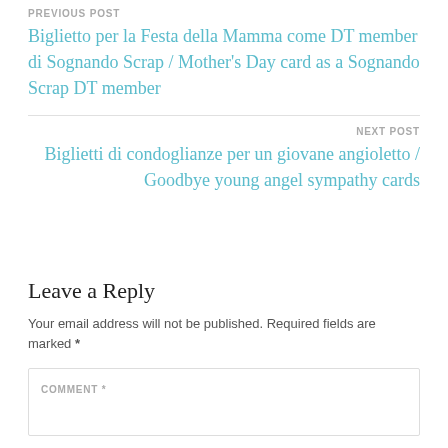PREVIOUS POST
Biglietto per la Festa della Mamma come DT member di Sognando Scrap / Mother's Day card as a Sognando Scrap DT member
NEXT POST
Biglietti di condoglianze per un giovane angioletto / Goodbye young angel sympathy cards
Leave a Reply
Your email address will not be published. Required fields are marked *
COMMENT *